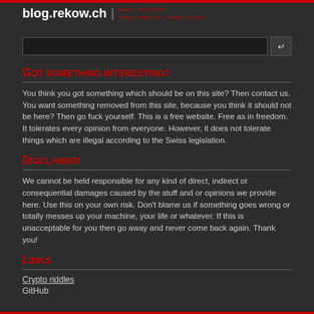blog.rekow.ch | where children sing songs of binary bliss
Got something interesting?
You think you got something which should be on this site? Then contact us. You want something removed from this site, because you think it should not be here? Then go fuck yourself. This is a free website. Free as in freedom. It tolerates every opinion from everyone. However, it does not tolerate things which are illegal according to the Swiss legislation.
Disclaimer
We cannot be held responsible for any kind of direct, indirect or consequential damages caused by the stuff and or opinions we provide here. Use this on your own risk. Don't blame us if something goes wrong or totally messes up your machine, your life or whatever. If this is unacceptable for you then go away and never come back again. Thank you!
Links
Crypto riddles
GitHub